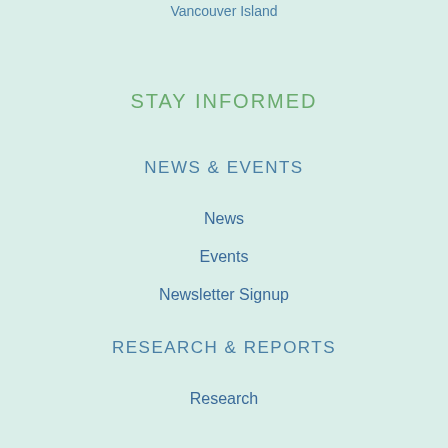Vancouver Island
STAY INFORMED
NEWS & EVENTS
News
Events
Newsletter Signup
RESEARCH & REPORTS
Research
COMPANY DIRECTORY
Companies